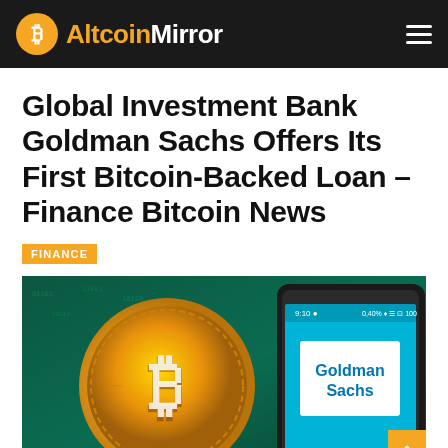AltcoinMirror
Global Investment Bank Goldman Sachs Offers Its First Bitcoin-Backed Loan – Finance Bitcoin News
FINANCE
[Figure (photo): A gold Bitcoin coin next to a smartphone displaying the Goldman Sachs logo on its screen, with a teal/green digital background.]